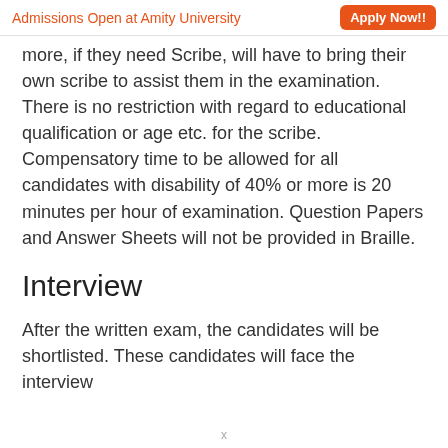Admissions Open at Amity University   Apply Now!!
more, if they need Scribe, will have to bring their own scribe to assist them in the examination. There is no restriction with regard to educational qualification or age etc. for the scribe. Compensatory time to be allowed for all candidates with disability of 40% or more is 20 minutes per hour of examination. Question Papers and Answer Sheets will not be provided in Braille.
Interview
After the written exam, the candidates will be shortlisted. These candidates will face the interview